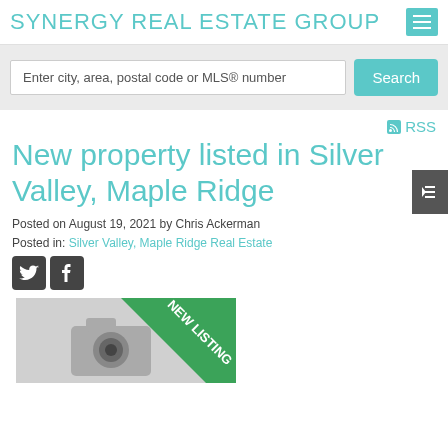SYNERGY REAL ESTATE GROUP
Enter city, area, postal code or MLS® number
Search
RSS
New property listed in Silver Valley, Maple Ridge
Posted on August 19, 2021 by Chris Ackerman
Posted in: Silver Valley, Maple Ridge Real Estate
[Figure (photo): New listing property photo placeholder with green NEW LISTING ribbon banner over a camera placeholder icon]